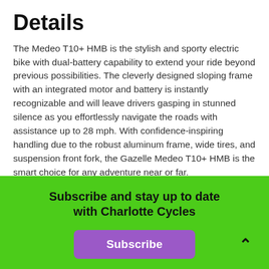Details
The Medeo T10+ HMB is the stylish and sporty electric bike with dual-battery capability to extend your ride beyond previous possibilities. The cleverly designed sloping frame with an integrated motor and battery is instantly recognizable and will leave drivers gasping in stunned silence as you effortlessly navigate the roads with assistance up to 28 mph. With confidence-inspiring handling due to the robust aluminum frame, wide tires, and suspension front fork, the Gazelle Medeo T10+ HMB is the smart choice for any adventure near or far.
Subscribe and stay up to date with Charlotte Cycles
Subscribe